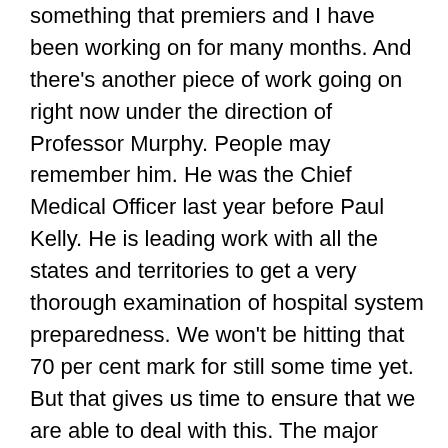something that premiers and I have been working on for many months. And there's another piece of work going on right now under the direction of Professor Murphy. People may remember him. He was the Chief Medical Officer last year before Paul Kelly. He is leading work with all the states and territories to get a very thorough examination of hospital system preparedness. We won't be hitting that 70 per cent mark for still some time yet. But that gives us time to ensure that we are able to deal with this. The major challenge I should stress, Mike, is the workforce. So it's not so much beds and buildings, it's actually the workforce. And one of the things that happens in an outbreak under the current testing and tracing and isolating quarantine rules is that a health worker would get furloughed if they were a close or secondary contact or something like that, which means they're not going to work. They go home and